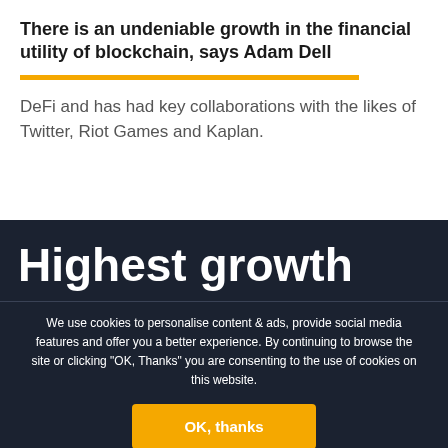There is an undeniable growth in the financial utility of blockchain, says Adam Dell
DeFi and has had key collaborations with the likes of Twitter, Riot Games and Kaplan.
[Figure (illustration): Facebook and Twitter social share icons — two circular orange-bordered icons with Facebook 'f' and Twitter bird symbols]
Highest growth
We use cookies to personalise content & ads, provide social media features and offer you a better experience. By continuing to browse the site or clicking "OK, Thanks" you are consenting to the use of cookies on this website.